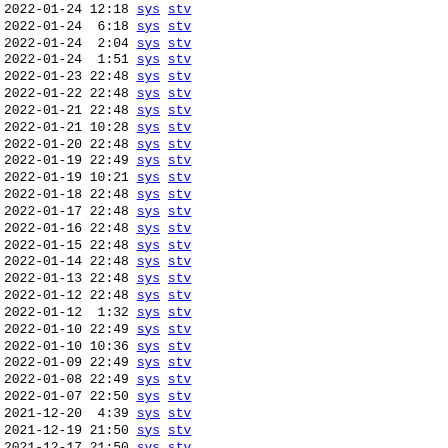2022-01-24 12:18 sys stv
2022-01-24  6:18 sys stv
2022-01-24  2:04 sys stv
2022-01-24  1:51 sys stv
2022-01-23 22:48 sys stv
2022-01-22 22:48 sys stv
2022-01-21 22:48 sys stv
2022-01-21 10:28 sys stv
2022-01-20 22:48 sys stv
2022-01-19 22:49 sys stv
2022-01-19 10:21 sys stv
2022-01-18 22:48 sys stv
2022-01-17 22:48 sys stv
2022-01-16 22:48 sys stv
2022-01-15 22:48 sys stv
2022-01-14 22:48 sys stv
2022-01-13 22:48 sys stv
2022-01-12 22:48 sys stv
2022-01-12  1:32 sys stv
2022-01-10 22:49 sys stv
2022-01-10 10:36 sys stv
2022-01-09 22:49 sys stv
2022-01-08 22:49 sys stv
2022-01-07 22:50 sys stv
2021-12-20  4:39 sys stv
2021-12-19 21:50 sys stv
2021-12-17 21:50 sys stv
2021-12-17  3:18 sys stv
2021-12-17  2:39 sys stv
2021-12-17  2:21 sys stv
2021-12-17  2:19 sys stv